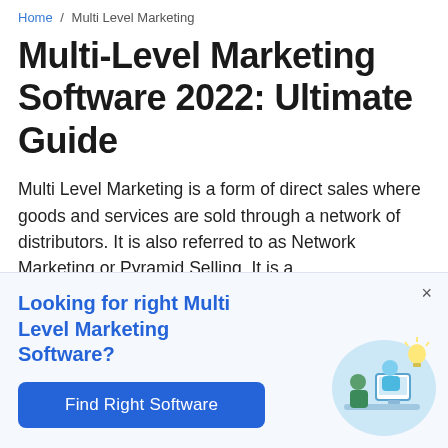Home / Multi Level Marketing
Multi-Level Marketing Software 2022: Ultimate Guide
Multi Level Marketing is a form of direct sales where goods and services are sold through a network of distributors. It is also referred to as Network Marketing or Pyramid Selling. It is a direct selling strategy wherein existing
Looking for right Multi Level Marketing Software?
[Figure (illustration): Illustration of two people collaborating at a computer with a lightbulb, set on a light blue circular background]
Find Right Software